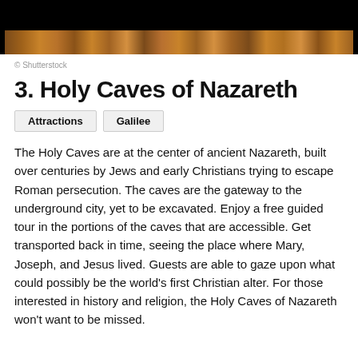[Figure (photo): Partial view of a textured stone/rock surface photo strip at the top of the page, partially cut off. Dark background above.]
© Shutterstock
3. Holy Caves of Nazareth
Attractions
Galilee
The Holy Caves are at the center of ancient Nazareth, built over centuries by Jews and early Christians trying to escape Roman persecution. The caves are the gateway to the underground city, yet to be excavated. Enjoy a free guided tour in the portions of the caves that are accessible. Get transported back in time, seeing the place where Mary, Joseph, and Jesus lived. Guests are able to gaze upon what could possibly be the world's first Christian alter. For those interested in history and religion, the Holy Caves of Nazareth won't want to be missed.